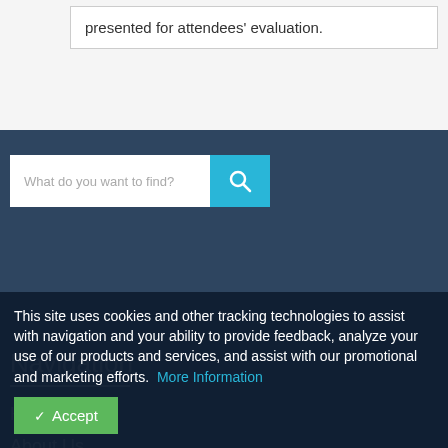presented for attendees' evaluation.
Navigation
Home
About Us
This site uses cookies and other tracking technologies to assist with navigation and your ability to provide feedback, analyze your use of our products and services, and assist with our promotional and marketing efforts. More Information
Accept